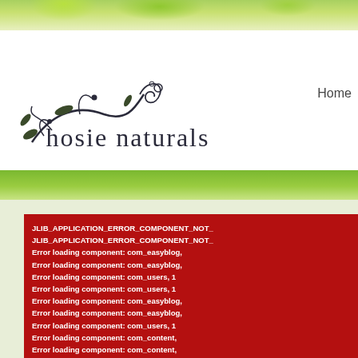[Figure (logo): Hosie Naturals logo with decorative floral/vine swirl design in dark ink and text 'hosie naturals']
Home
[Figure (photo): Green nature/leaves background banner]
JLIB_APPLICATION_ERROR_COMPONENT_NOT_
JLIB_APPLICATION_ERROR_COMPONENT_NOT_
Error loading component: com_easyblog,
Error loading component: com_easyblog,
Error loading component: com_users, 1
Error loading component: com_users, 1
Error loading component: com_easyblog,
Error loading component: com_easyblog,
Error loading component: com_users, 1
Error loading component: com_content,
Error loading component: com_content,
Error loading component: com_content,
Error loading component: com_content,